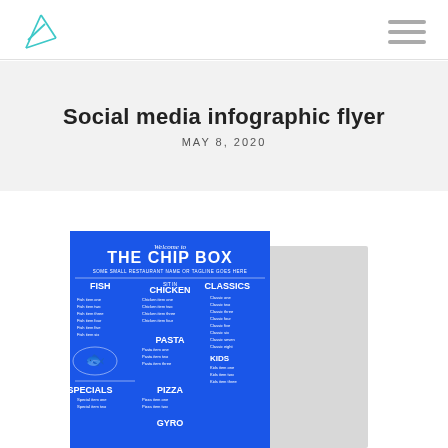[Figure (logo): Triangular geometric logo in teal/cyan color]
[Figure (infographic): Hamburger menu icon (three horizontal gray lines)]
Social media infographic flyer
MAY 8, 2020
[Figure (screenshot): Screenshot of a blue restaurant menu flyer for 'The Chip Box' showing sections for Fish, Sit In, Classics, Chicken, Pasta, Kids, Specials, Pizza, Gyro menu items on a bright blue background]